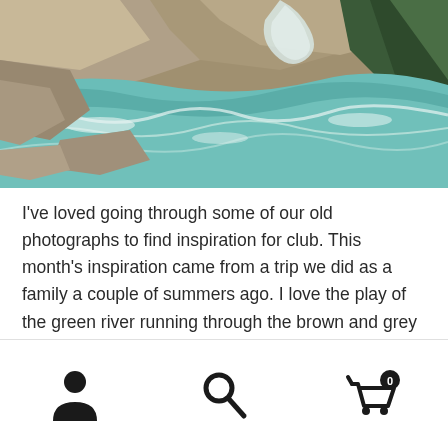[Figure (photo): Aerial/close-up photo of a turquoise-green river rushing through brown and grey rocky cliffs with evergreen trees visible at upper right]
I've loved going through some of our old photographs to find inspiration for club. This month's inspiration came from a trip we did as a family a couple of summers ago. I love the play of the green river running through the brown and grey of the surrounding cliffs. It's just such a pretty contrast.
[Figure (screenshot): Bottom navigation bar with three icons: user/person icon on left, search/magnifying glass icon in center, shopping cart with badge showing '0' on right]